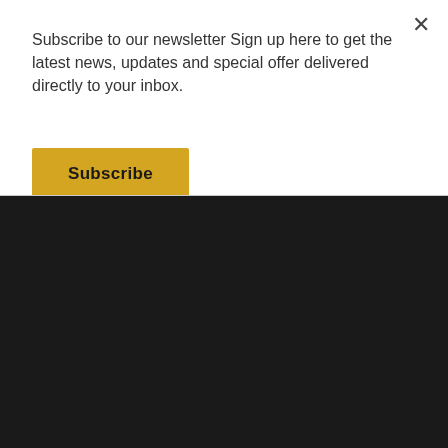Subscribe to our newsletter Sign up here to get the latest news, updates and special offer delivered directly to your inbox.
Subscribe
SHARE-ARCHITECTS.COM
[Figure (logo): SHARE architects.com logo with geometric folded paper icon and text LEAD ARCHITECTS AND CONTRACTORS]